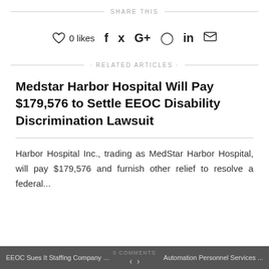SHARE THIS
0 likes  f  t  G+   pinterest  in  email
RELATED ARTICLES
Medstar Harbor Hospital Will Pay $179,576 to Settle EEOC Disability Discrimination Lawsuit
Harbor Hospital Inc., trading as MedStar Harbor Hospital, will pay $179,576 and furnish other relief to resolve a federal...
EEOC Sues It Staffing Company D... < > Automation Personnel Services ...  0 COMMENTS